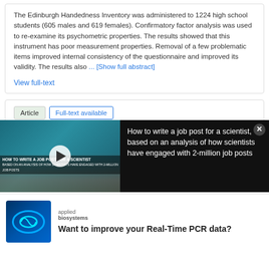The Edinburgh Handedness Inventory was administered to 1224 high school students (605 males and 619 females). Confirmatory factor analysis was used to re-examine its psychometric properties. The results showed that this instrument has poor measurement properties. Removal of a few problematic items improved internal consistency of the questionnaire and improved its validity. The results also ... [Show full abstract]
View full-text
Article | Full-text available
Preliminary Validation of the Portuguese Edinburgh...
[Figure (screenshot): Video popup overlay: thumbnail of a woman at a desk with text 'HOW TO WRITE A JOB POST FOR A SCIENTIST' and a play button. Text panel reads: 'How to write a job post for a scientist, based on an analysis of how scientists have engaged with 2-million job posts']
[Figure (logo): Applied Biosystems logo - infinity symbol on blue background]
Want to improve your Real-Time PCR data?